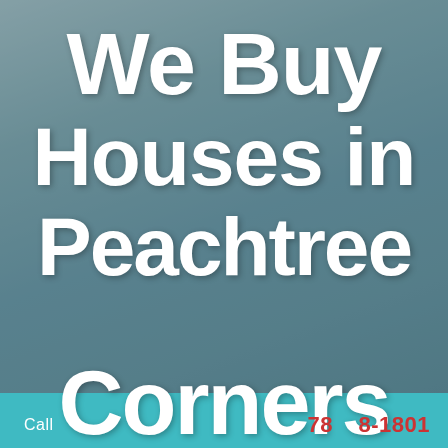[Figure (photo): Background photo of a house exterior, muted teal/grey tones with a semi-transparent overlay. Bold white text overlaid reading 'We Buy Houses in Peachtree Corners'. Bottom teal banner with phone number.]
We Buy Houses in Peachtree Corners
78__8-1801